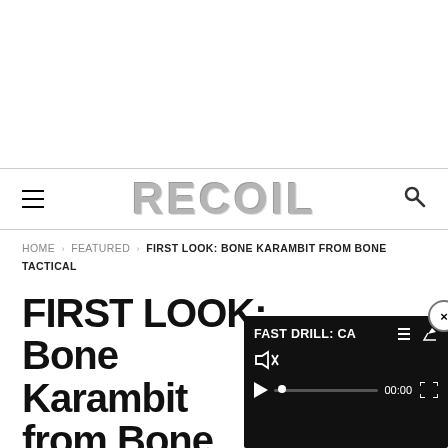RECOIL
HOME > FEATURED > FIRST LOOK: BONE KARAMBIT FROM BONE TACTICAL
FIRST LOOK: Bone Karambit from Bone Tactical
[Figure (screenshot): Video player overlay showing 'FAST DRILL: CA...' title, muted speaker icon, play button, progress bar, time 00:00, and fullscreen icon. A close (x) button is in the top right corner.]